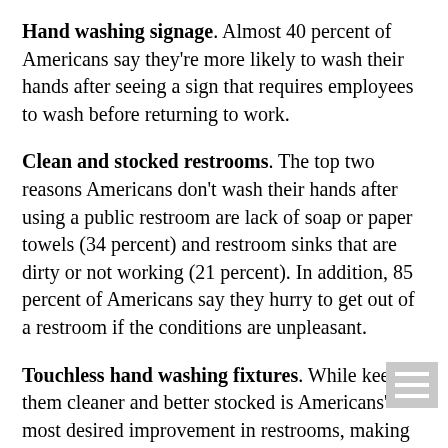Hand washing signage. Almost 40 percent of Americans say they're more likely to wash their hands after seeing a sign that requires employees to wash before returning to work.
Clean and stocked restrooms. The top two reasons Americans don't wash their hands after using a public restroom are lack of soap or paper towels (34 percent) and restroom sinks that are dirty or not working (21 percent). In addition, 85 percent of Americans say they hurry to get out of a restroom if the conditions are unpleasant.
Touchless hand washing fixtures. While keeping them cleaner and better stocked is Americans' most desired improvement in restrooms, making everything touchless is next on their wish list. People go out their way to avoid contact with germs in restrooms. 65